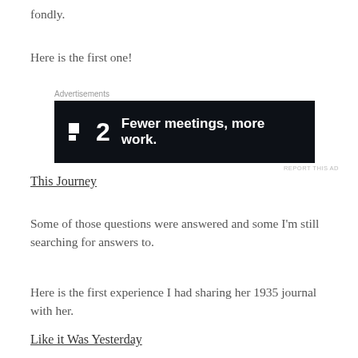fondly.
Here is the first one!
[Figure (other): Advertisement banner: dark background with logo '■2' and text 'Fewer meetings, more work.']
This Journey
Some of those questions were answered and some I'm still searching for answers to.
Here is the first experience I had sharing her 1935 journal with her.
Like it Was Yesterday